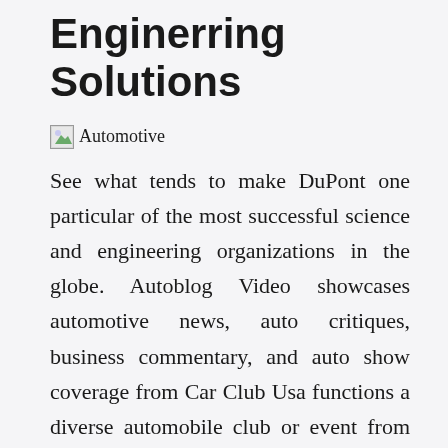Enginerring Solutions
[Figure (photo): Automotive image placeholder]
See what tends to make DuPont one particular of the most successful science and engineering organizations in the globe. Autoblog Video showcases automotive news, auto critiques, business commentary, and auto show coverage from Car Club Usa functions a diverse automobile club or event from across the US, where passionate owner communities gather to share